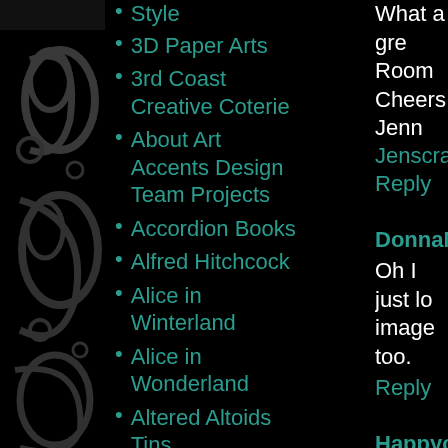Style
3D Paper Arts
3rd Coast Creative Coterie
About Art Accents Design Team Projects
Accordion Books
Alfred Hitchcock
Alice in Winterland
Alice in Wonderland
Altered Altoids Tins
Altered Art
What a gre Room
Cheers Jenn
Jenscrapsto
Reply
DonnaMur
Oh I just lo image too.
Reply
Happycraf
really love
Thanks for